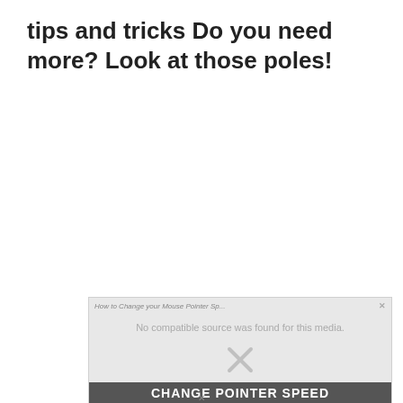tips and tricks Do you need more? Look at those poles!
[Figure (screenshot): A video player embed showing an error state: 'How to Change your Mouse Pointer Sp...' with message 'No compatible source was found for this media.' and an X icon, with bottom bar showing 'CHANGE POINTER SPEED']